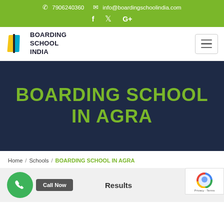7906240360  info@boardingschoolindia.com
[Figure (logo): Boarding School India logo with book icon and text]
BOARDING SCHOOL IN AGRA
Home / Schools / BOARDING SCHOOL IN AGRA
Refine Page Results